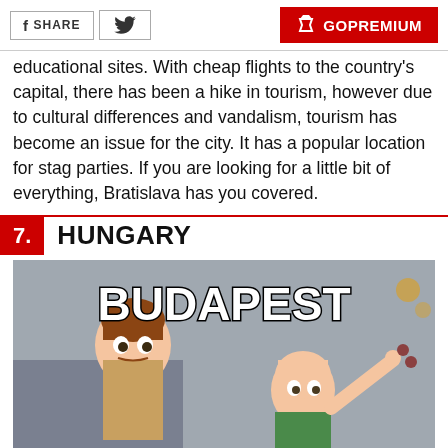SHARE | [twitter] | GOPREMIUM
educational sites. With cheap flights to the country's capital, there has been a hike in tourism, however due to cultural differences and vandalism, tourism has become an issue for the city. It has a popular location for stag parties. If you are looking for a little bit of everything, Bratislava has you covered.
7. HUNGARY
[Figure (photo): Meme image of Buzz Lightyear and Woody from Toy Story with text 'BUDAPEST' overlaid in bold white letters]